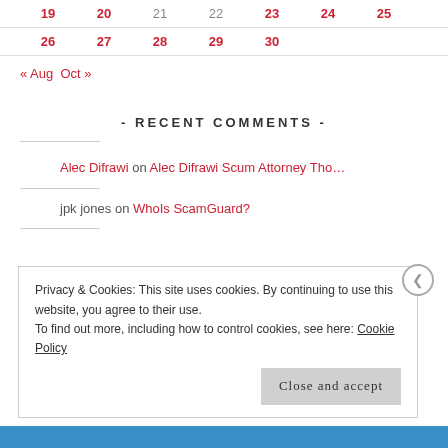| 19 | 20 | 21 | 22 | 23 | 24 | 25 |
| 26 | 27 | 28 | 29 | 30 |  |  |
« Aug   Oct »
- RECENT COMMENTS -
Alec Difrawi on Alec Difrawi Scum Attorney Tho…
jpk jones on WhoIs ScamGuard?
Privacy & Cookies: This site uses cookies. By continuing to use this website, you agree to their use. To find out more, including how to control cookies, see here: Cookie Policy